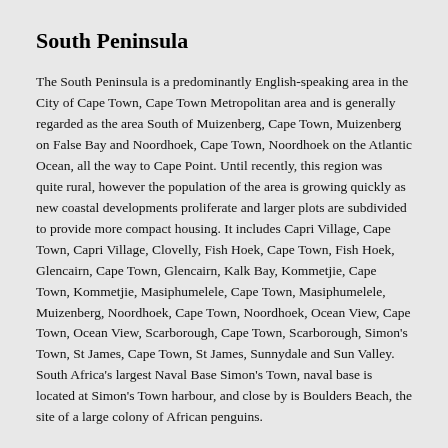South Peninsula
The South Peninsula is a predominantly English-speaking area in the City of Cape Town, Cape Town Metropolitan area and is generally regarded as the area South of Muizenberg, Cape Town, Muizenberg on False Bay and Noordhoek, Cape Town, Noordhoek on the Atlantic Ocean, all the way to Cape Point. Until recently, this region was quite rural, however the population of the area is growing quickly as new coastal developments proliferate and larger plots are subdivided to provide more compact housing. It includes Capri Village, Cape Town, Capri Village, Clovelly, Fish Hoek, Cape Town, Fish Hoek, Glencairn, Cape Town, Glencairn, Kalk Bay, Kommetjie, Cape Town, Kommetjie, Masiphumelele, Cape Town, Masiphumelele, Muizenberg, Noordhoek, Cape Town, Noordhoek, Ocean View, Cape Town, Ocean View, Scarborough, Cape Town, Scarborough, Simon's Town, St James, Cape Town, St James, Sunnydale and Sun Valley. South Africa's largest Naval Base Simon's Town, naval base is located at Simon's Town harbour, and close by is Boulders Beach, the site of a large colony of African penguins.